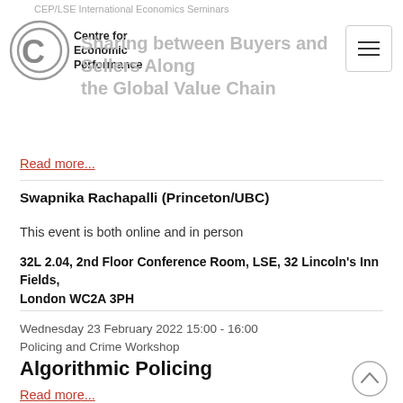CEP/LSE International Economics Seminars
[Figure (logo): Centre for Economic Performance (CEP) circular logo with C letter mark, followed by text 'Centre for Economic Performance']
Sharing between Buyers and Sellers Along the Global Value Chain
Read more...
Swapnika Rachapalli (Princeton/UBC)
This event is both online and in person
32L 2.04, 2nd Floor Conference Room, LSE, 32 Lincoln's Inn Fields, London WC2A 3PH
Wednesday 23 February 2022 15:00 - 16:00
Policing and Crime Workshop
Algorithmic Policing
Read more...
Ranae Jabri (Duke University)